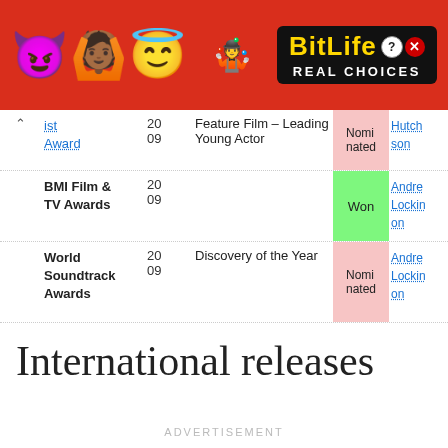[Figure (other): BitLife app advertisement banner with emoji characters (devil, brown-skinned person with raised hands, halo emoji, sperm emoji) on red background with BitLife logo in black box reading 'REAL CHOICES']
| Award | Year | Category | Result | Recipient |
| --- | --- | --- | --- | --- |
| ist Award | 2009 | Feature Film – Leading Young Actor | Nominated | Hutchson |
| BMI Film & TV Awards | 2009 |  | Won | Andrea Lockinon |
| World Soundtrack Awards | 2009 | Discovery of the Year | Nominated | Andrea Lockinon |
International releases
ADVERTISEMENT